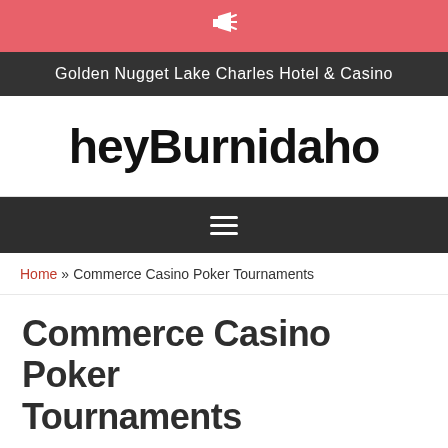🔔
Golden Nugget Lake Charles Hotel & Casino
heyBurnidaho
≡
Home » Commerce Casino Poker Tournaments
Commerce Casino Poker Tournaments
All orders should be positioned earlier than 9:00 p.m. You can withdraw utilizing the identical methods as with deposits